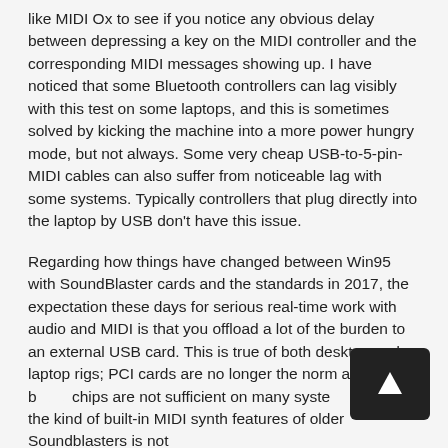like MIDI Ox to see if you notice any obvious delay between depressing a key on the MIDI controller and the corresponding MIDI messages showing up. I have noticed that some Bluetooth controllers can lag visibly with this test on some laptops, and this is sometimes solved by kicking the machine into a more power hungry mode, but not always. Some very cheap USB-to-5-pin-MIDI cables can also suffer from noticeable lag with some systems. Typically controllers that plug directly into the laptop by USB don't have this issue.
Regarding how things have changed between Win95 with SoundBlaster cards and the standards in 2017, the expectation these days for serious real-time work with audio and MIDI is that you offload a lot of the burden to an external USB card. This is true of both desktop and laptop rigs; PCI cards are no longer the norm and on-board chips are not sufficient on many systems. Similarly the kind of built-in MIDI synth features of older Soundblasters is not